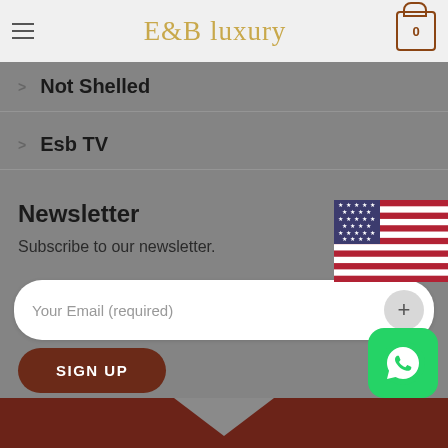E&B Luxury
Not Shelled
Esb TV
Newsletter
Subscribe to our newsletter.
Your Email (required)
SIGN UP
[Figure (illustration): US flag image in top right corner]
[Figure (logo): WhatsApp icon button in bottom right corner]